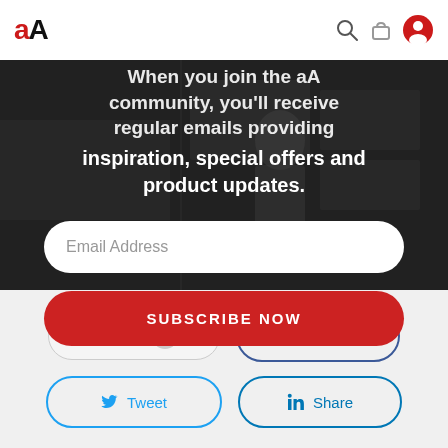[Figure (screenshot): Website navigation bar with 'aA' logo on left and search, bag, user icons on right]
[Figure (screenshot): Dark overlay hero section with email subscription form. Text reads 'When you join the aA community, you'll receive regular emails providing inspiration, special offers and product updates.' with an Email Address input field and red SUBSCRIBE NOW button.]
Love
Share
Tweet
Share